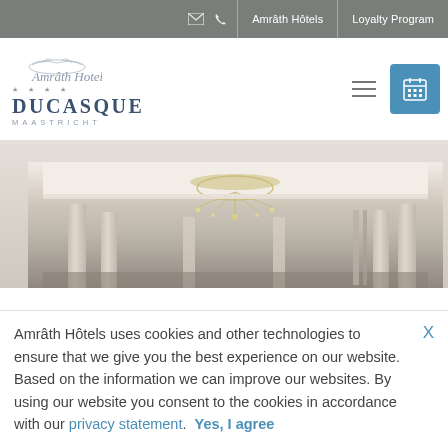Amrâth Hôtels | Loyalty Program
[Figure (logo): Amrâth Hotel DuCasque Maastricht logo with decorative script and serif typography]
[Figure (photo): Hotel interior with chandelier, white columns, and elegant ballroom ceiling]
Amrâth Hôtels uses cookies and other technologies to ensure that we give you the best experience on our website. Based on the information we can improve our websites. By using our website you consent to the cookies in accordance with our privacy statement.  Yes, I agree